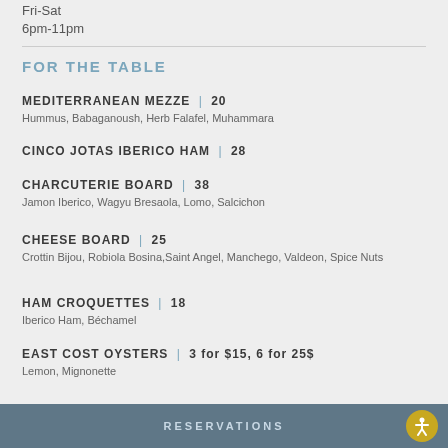Fri-Sat
6pm-11pm
FOR THE TABLE
MEDITERRANEAN MEZZE | 20
Hummus, Babaganoush, Herb Falafel, Muhammara
CINCO JOTAS IBERICO HAM | 28
CHARCUTERIE BOARD | 38
Jamon Iberico, Wagyu Bresaola, Lomo, Salcichon
CHEESE BOARD | 25
Crottin Bijou, Robiola Bosina, Saint Angel, Manchego, Valdeon, Spice Nuts
HAM CROQUETTES | 18
Iberico Ham, Béchamel
EAST COST OYSTERS | 3 for $15, 6 for 25$
Lemon, Mignonette
RESERVATIONS